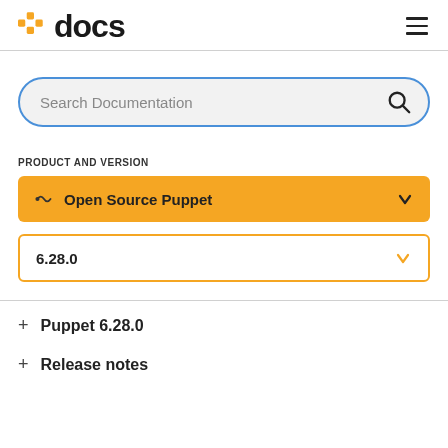docs
[Figure (other): Search Documentation input box with magnifying glass icon]
PRODUCT AND VERSION
Open Source Puppet (dropdown)
6.28.0 (dropdown)
+ Puppet 6.28.0
+ Release notes